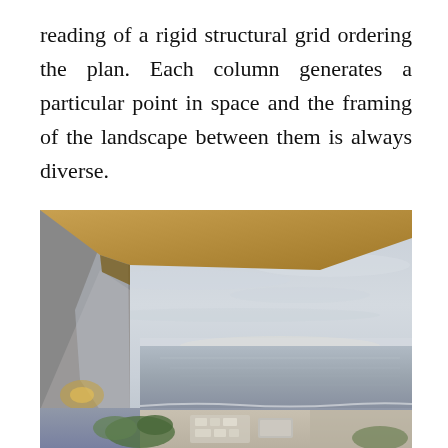reading of a rigid structural grid ordering the plan. Each column generates a particular point in space and the framing of the landscape between them is always diverse.
[Figure (photo): Architectural photograph showing a modern seaside building with glass walls and a flat roof, overlooking the ocean under an overcast sky. The lower portion shows a landscaped terrace with stones and vegetation against a sandy beach.]